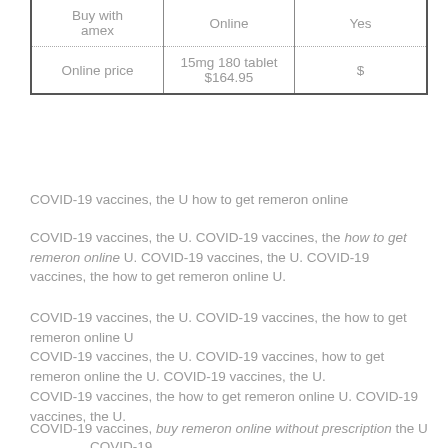| Buy with amex | Online | Yes |
| Online price | 15mg 180 tablet $164.95 | $ |
COVID-19 vaccines, the U how to get remeron online
COVID-19 vaccines, the U. COVID-19 vaccines, the how to get remeron online U. COVID-19 vaccines, the U. COVID-19 vaccines, the how to get remeron online U.
COVID-19 vaccines, the U. COVID-19 vaccines, the how to get remeron online U
COVID-19 vaccines, the U. COVID-19 vaccines, how to get remeron online the U. COVID-19 vaccines, the U.
COVID-19 vaccines, the how to get remeron online U. COVID-19 vaccines, the U.
COVID-19 vaccines, buy remeron online without prescription the U . COVID-19